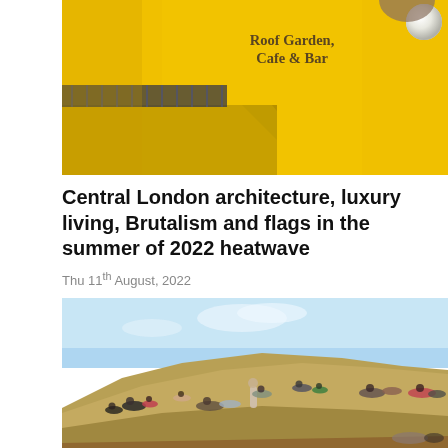[Figure (photo): Yellow building exterior showing 'Roof Garden, Cafe & Bar' signage with an overhang structure and globe light]
Central London architecture, luxury living, Brutalism and flags in the summer of 2022 heatwave
Thu 11th August, 2022
[Figure (photo): People sitting and relaxing on a dry grass hill during the 2022 summer heatwave, with a blue sky in the background]